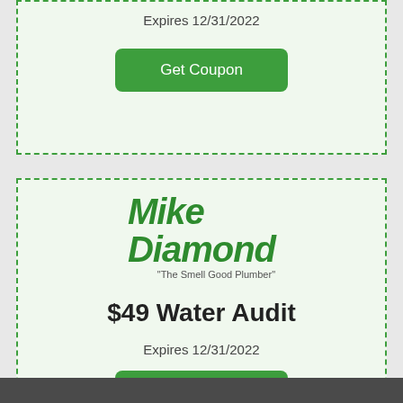Expires 12/31/2022
Get Coupon
[Figure (logo): Mike Diamond 'The Smell Good Plumber' logo in green text]
$49 Water Audit
Expires 12/31/2022
Get Coupon